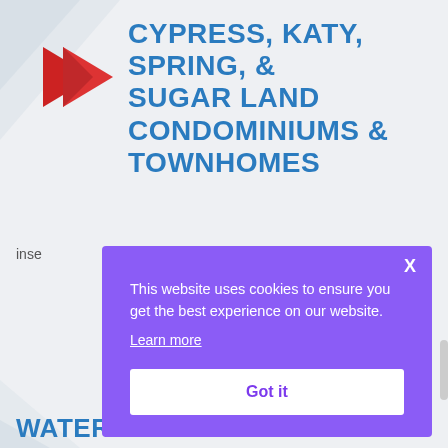[Figure (logo): Red angular arrow/chevron logo pointing right]
CYPRESS, KATY, SPRING, & SUGAR LAND CONDOMINIUMS & TOWNHOMES
inse
This website uses cookies to ensure you get the best experience on our website. Learn more
Got it
WATERFRONT HOMES IN